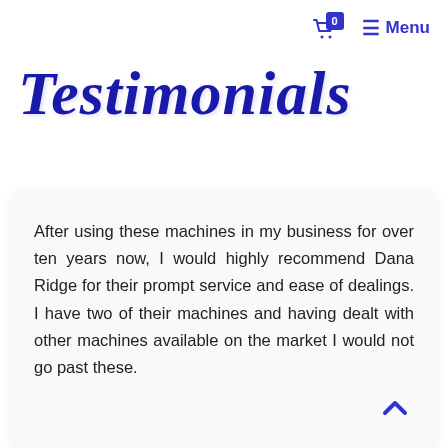🛍 0  ☰ Menu
Testimonials
After using these machines in my business for over ten years now, I would highly recommend Dana Ridge for their prompt service and ease of dealings. I have two of their machines and having dealt with other machines available on the market I would not go past these.